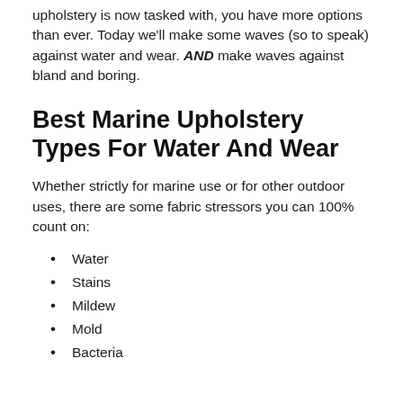upholstery is now tasked with, you have more options than ever. Today we'll make some waves (so to speak) against water and wear. AND make waves against bland and boring.
Best Marine Upholstery Types For Water And Wear
Whether strictly for marine use or for other outdoor uses, there are some fabric stressors you can 100% count on:
Water
Stains
Mildew
Mold
Bacteria